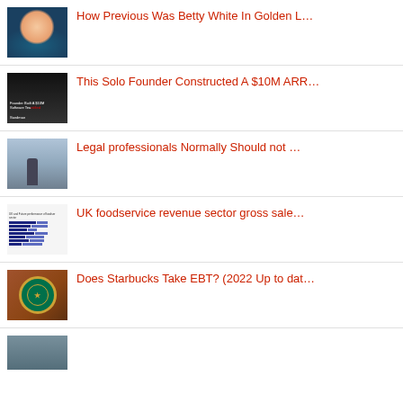How Previous Was Betty White In Golden L…
This Solo Founder Constructed A $10M ARR…
Legal professionals Normally Should not …
UK foodservice revenue sector gross sale…
Does Starbucks Take EBT? (2022 Up to dat…